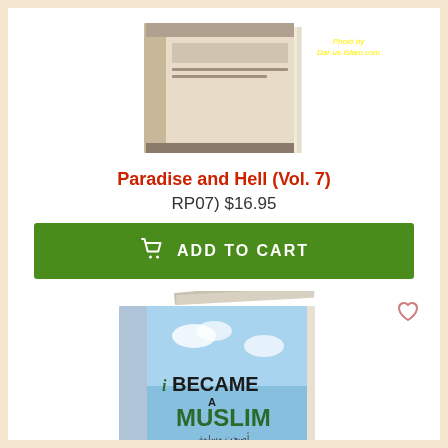[Figure (photo): Book cover photo of 'Paradise and Hell (Vol. 7)' showing the book open, with watermark 'Photo by Dar-us-Islam.com']
Paradise and Hell (Vol. 7)
RP07) $16.95
ADD TO CART
[Figure (photo): Book cover of 'I Became a Muslim' by Aysha Parry, showing a light blue sky cover with bold text]